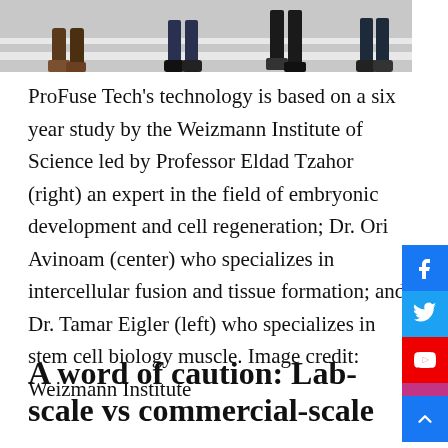[Figure (photo): Cropped photo showing legs and feet of people walking on a zebra crossing / crosswalk, partially visible from above.]
ProFuse Tech’s technology is based on a six year study by the Weizmann Institute of Science led by Professor Eldad Tzahor (right) an expert in the field of embryonic development and cell regeneration; Dr. Ori Avinoam (center) who specializes in intercellular fusion and tissue formation; and Dr. Tamar Eigler (left) who specializes in stem cell biology muscle. Image credit: Weizmann Institute
A word of caution: Lab-scale vs commercial-scale
Before you start...